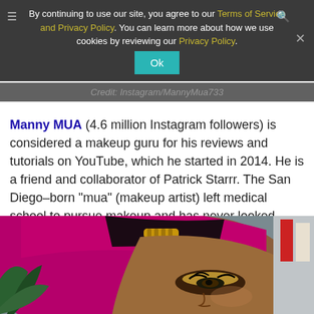By continuing to use our site, you agree to our Terms of Service and Privacy Policy. You can learn more about how we use cookies by reviewing our Privacy Policy. [Ok button]
Credit: Instagram/MannyMua733
Manny MUA (4.6 million Instagram followers) is considered a makeup guru for his reviews and tutorials on YouTube, which he started in 2014. He is a friend and collaborator of Patrick Starrr. The San Diego–born "mua" (makeup artist) left medical school to pursue makeup and has never looked back.
[Figure (photo): Photo of a person with bright magenta/pink hair and gold hair accessory, wearing dramatic eye makeup with gold eyeshadow and dark lipstick. Partial face visible, looking sideways.]